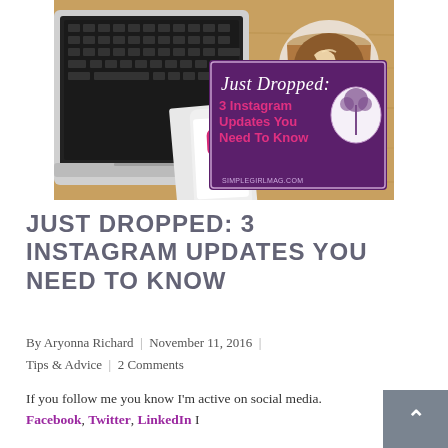[Figure (photo): Hero image of a laptop keyboard, a smartphone showing the Instagram logo, and a latte art coffee cup on a wooden table. Overlaid is a purple banner with script text 'Just Dropped:' and bold pink/red text '3 Instagram Updates You Need To Know' with a tree logo.]
JUST DROPPED: 3 INSTAGRAM UPDATES YOU NEED TO KNOW
By Aryonna Richard  |  November 11, 2016  |  Tips & Advice  |  2 Comments
If you follow me you know I'm active on social media. Facebook, Twitter, LinkedIn I